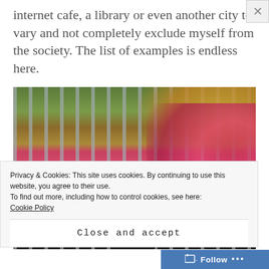internet cafe, a library or even another city to vary and not completely exclude myself from the society. The list of examples is endless here.
[Figure (photo): A person wearing a black hat partially visible behind metal fence bars, with colorful flowers (pink/red) and autumn foliage in the background.]
Privacy & Cookies: This site uses cookies. By continuing to use this website, you agree to their use.
To find out more, including how to control cookies, see here:
Cookie Policy
Close and accept
Follow